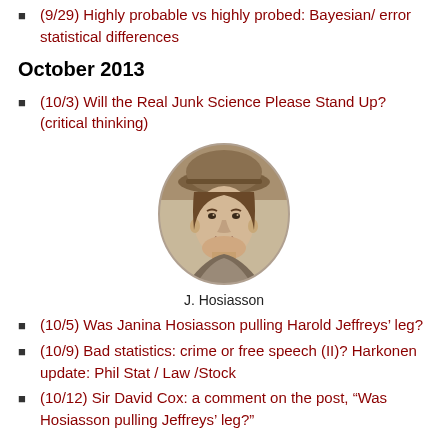(9/29) Highly probable vs highly probed: Bayesian/ error statistical differences
October 2013
(10/3) Will the Real Junk Science Please Stand Up? (critical thinking)
[Figure (photo): Oval sepia portrait photograph of J. Hosiasson, a young person wearing a rounded hat]
J. Hosiasson
(10/5) Was Janina Hosiasson pulling Harold Jeffreys' leg?
(10/9) Bad statistics: crime or free speech (II)? Harkonen update: Phil Stat / Law /Stock
(10/12) Sir David Cox: a comment on the post, “Was Hosiasson pulling Jeffreys’ leg?”